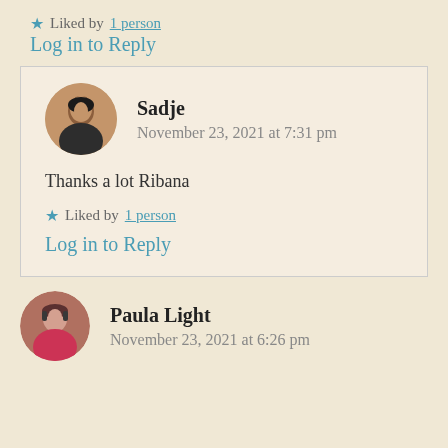★ Liked by 1 person
Log in to Reply
Sadje
November 23, 2021 at 7:31 pm
Thanks a lot Ribana
★ Liked by 1 person
Log in to Reply
Paula Light
November 23, 2021 at 6:26 pm